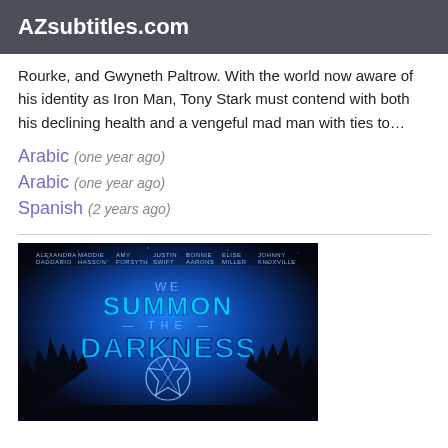AZsubtitles.com
Rourke, and Gwyneth Paltrow. With the world now aware of his identity as Iron Man, Tony Stark must contend with both his declining health and a vengeful mad man with ties to…
Arabic (one year ago)
Arabic (one year ago)
Spanish (2 years ago)
[Figure (photo): Movie poster for 'We Summon the Darkness' with blue glowing text on dark background with forest silhouette and pentagram. Tagline: LET US PREY. Cast names listed at top.]